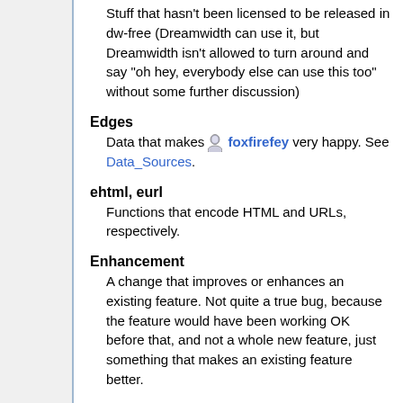Stuff that hasn't been licensed to be released in dw-free (Dreamwidth can use it, but Dreamwidth isn't allowed to turn around and say "oh hey, everybody else can use this too" without some further discussion)
Edges
Data that makes foxfirefey very happy. See Data_Sources.
ehtml, eurl
Functions that encode HTML and URLs, respectively.
Enhancement
A change that improves or enhances an existing feature. Not quite a true bug, because the feature would have been working OK before that, and not a whole new feature, just something that makes an existing feature better.